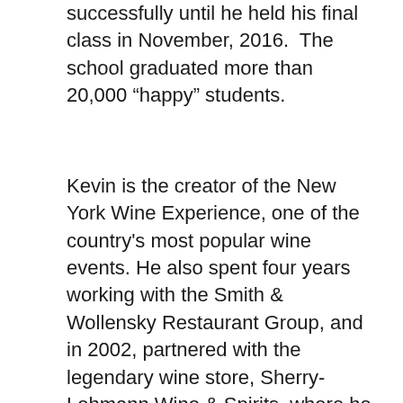successfully until he held his final class in November, 2016.  The school graduated more than 20,000 "happy" students.
Kevin is the creator of the New York Wine Experience, one of the country's most popular wine events. He also spent four years working with the Smith & Wollensky Restaurant Group, and in 2002, partnered with the legendary wine store, Sherry-Lehmann Wine & Spirits, where he started to teach his famous One Hour Wine Expert classes, a variety of Advanced Wine Courses and Master Classes.
Kevin has shared his passion for the enjoyment of wine through his books,